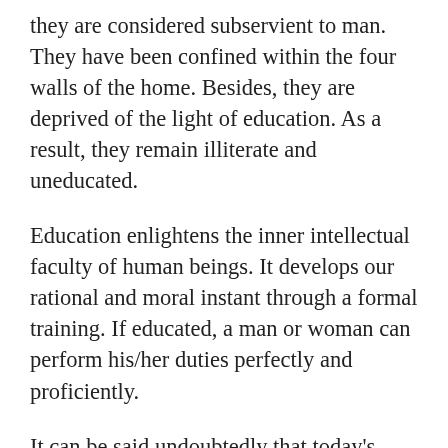they are considered subservient to man. They have been confined within the four walls of the home. Besides, they are deprived of the light of education. As a result, they remain illiterate and uneducated.
Education enlightens the inner intellectual faculty of human beings. It develops our rational and moral instant through a formal training. If educated, a man or woman can perform his/her duties perfectly and proficiently.
It can be said undoubtedly that today's girls are the future women and one day they will be mothers of the future. A mother plays a very significant part in her family. So far as the caring and sharing of the children are concerned, the role of a mother remains very important. If a mother is educated she